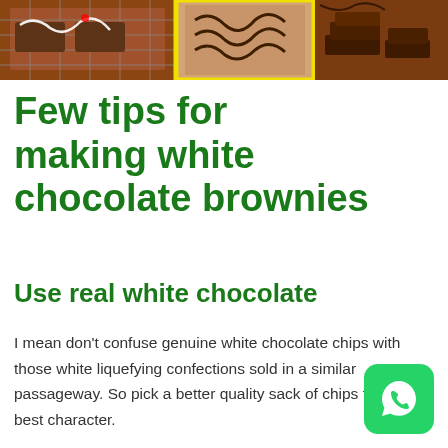[Figure (photo): Three food photos showing chocolate brownies and drizzled chocolate, one with a yellow border highlighting the middle image]
Few tips for making white chocolate brownies
Use real white chocolate
I mean don't confuse genuine white chocolate chips with those white liquefying confections sold in a similar passageway. So pick a better quality sack of chips for the best character.
[Figure (logo): WhatsApp logo icon — green rounded square with white phone handset in speech bubble]